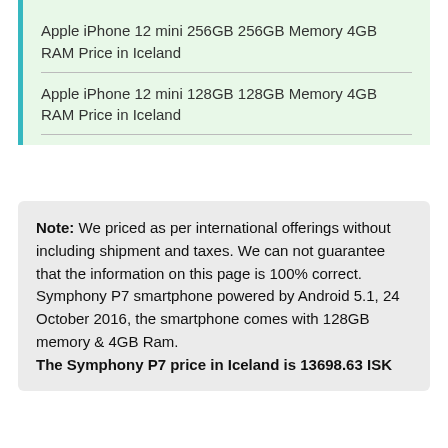Apple iPhone 12 mini 256GB 256GB Memory 4GB RAM Price in Iceland
Apple iPhone 12 mini 128GB 128GB Memory 4GB RAM Price in Iceland
Note: We priced as per international offerings without including shipment and taxes. We can not guarantee that the information on this page is 100% correct. Symphony P7 smartphone powered by Android 5.1, 24 October 2016, the smartphone comes with 128GB memory & 4GB Ram. The Symphony P7 price in Iceland is 13698.63 ISK